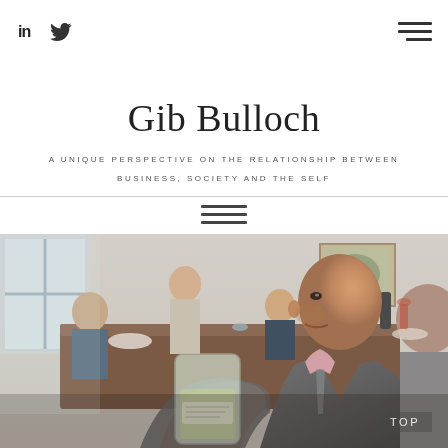in [LinkedIn icon] [Twitter icon] [Hamburger menu]
Gib Bulloch
A UNIQUE PERSPECTIVE ON THE RELATIONSHIP BETWEEN BUSINESS, SOCIETY AND THE SELF
[Figure (photo): Bald man in grey suit holding a glass jar, seated at a long wooden dining table with other people in a formal room with paintings on the wall]
TOP